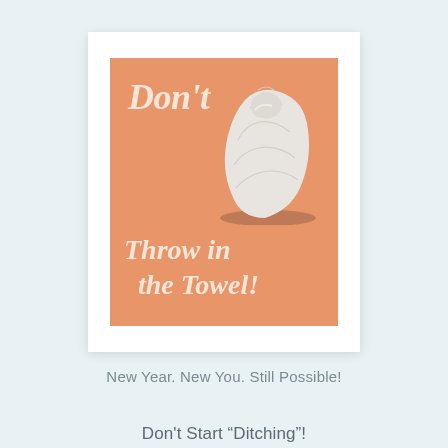[Figure (illustration): Orange square book/poster cover with text 'Don't Throw in the Towel!' and an image of a white bundled towel in the center. Text in cream/off-white serif italic font.]
New Year. New You. Still Possible!
Don't Start "Ditching"!